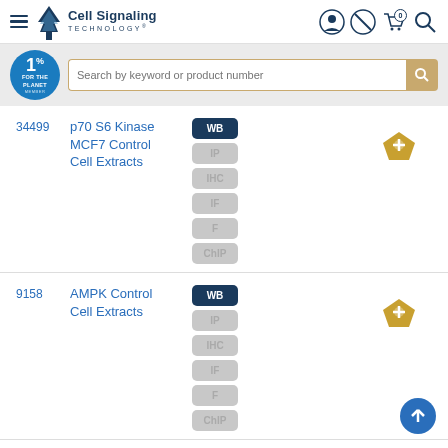[Figure (screenshot): Cell Signaling Technology website header with hamburger menu, tree logo, brand name, and icons for user, notifications, cart, and search]
[Figure (screenshot): 1% for the Planet badge and search bar with placeholder text 'Search by keyword or product number']
34499 - p70 S6 Kinase MCF7 Control Cell Extracts - WB (active), IP, IHC, IF, F, ChIP (inactive)
9158 - AMPK Control Cell Extracts - WB (active), IP, IHC, IF, F, ChIP (inactive)